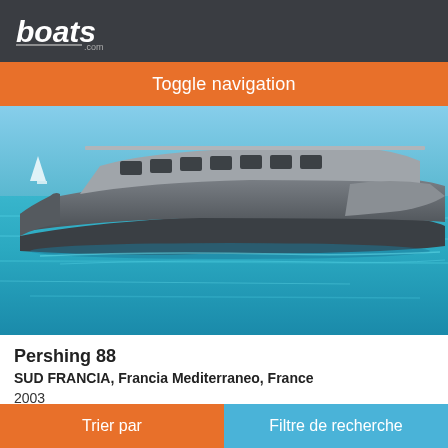boats.com
Toggle navigation
[Figure (photo): A large luxury motor yacht (Pershing 88) floating on bright turquoise Mediterranean waters, viewed from the side. The yacht is dark grey/silver with a sleek modern profile.]
Pershing 88
SUD FRANCIA, Francia Mediterraneo, France
2003
Sur demande
Vendeur Admiral Yachting
Trier par    Filtre de recherche